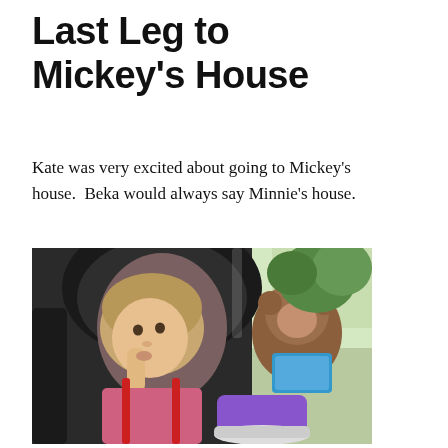Last Leg to Mickey's House
Kate was very excited about going to Mickey's house.  Beka would always say Minnie's house.
[Figure (photo): A young toddler girl sitting in a car seat, resting her finger on her lips thoughtfully, with a stuffed animal toy and a purple snack cup beside her, and a window with green trees visible in the background.]